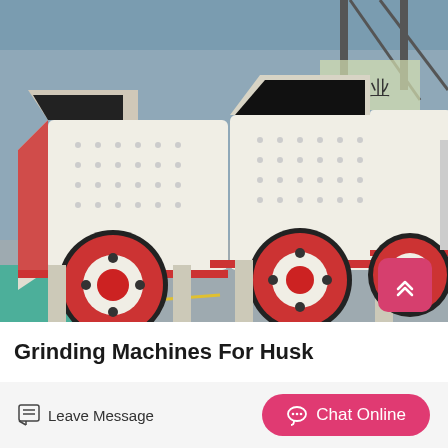[Figure (photo): Two large white industrial impact crusher/grinding machines with red and black wheels, photographed in an industrial factory setting with warehouse structures in the background.]
Grinding Machines For Husk
Leave Message
Chat Online